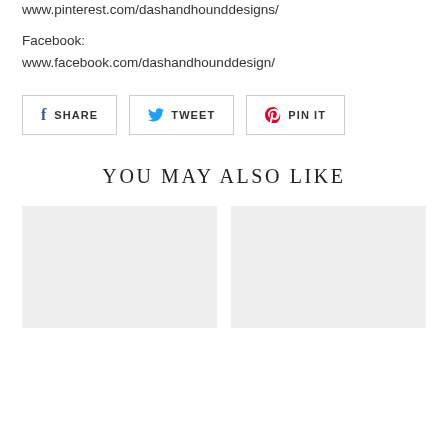www.pinterest.com/dashandhounddesigns/
Facebook:
www.facebook.com/dashandhounddesign/
[Figure (other): Social share buttons: SHARE (Facebook), TWEET (Twitter), PIN IT (Pinterest)]
YOU MAY ALSO LIKE
[Figure (photo): Product image placeholder (left), light gray rectangle]
[Figure (photo): Product image placeholder (right), light gray rectangle]